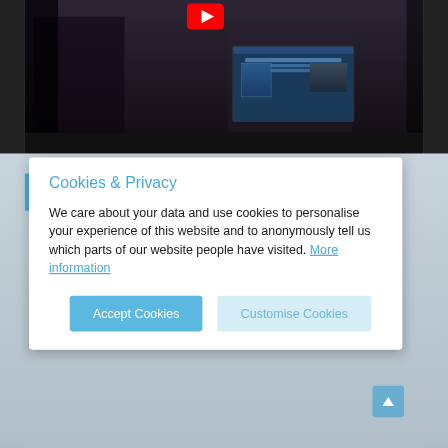[Figure (screenshot): YouTube video thumbnail showing two people, one holding a laptop displaying a website. A red YouTube play button icon is visible at the top of the video area.]
Cookies & Privacy
We care about your data and use cookies to personalise your experience of this website and to anonymously tell us which parts of our website people have visited. More information